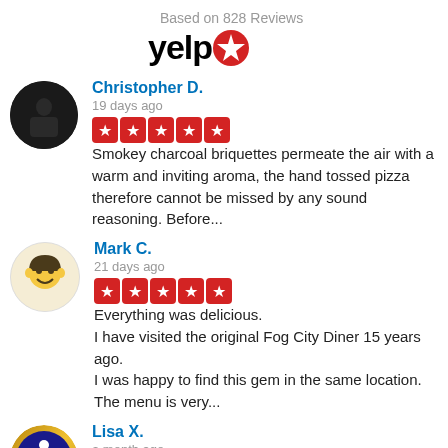Based on 828 Reviews
[Figure (logo): Yelp logo with red burst icon]
Christopher D.
19 days ago
Smokey charcoal briquettes permeate the air with a warm and inviting aroma, the hand tossed pizza therefore cannot be missed by any sound reasoning. Before...
Mark C.
21 days ago
Everything was delicious. I have visited the original Fog City Diner 15 years ago. I was happy to find this gem in the same location. The menu is very...
Lisa X.
a month ago
Located in a historic neighborhood,